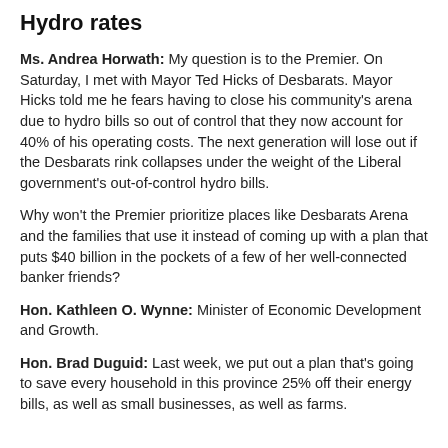Hydro rates
Ms. Andrea Horwath: My question is to the Premier. On Saturday, I met with Mayor Ted Hicks of Desbarats. Mayor Hicks told me he fears having to close his community's arena due to hydro bills so out of control that they now account for 40% of his operating costs. The next generation will lose out if the Desbarats rink collapses under the weight of the Liberal government's out-of-control hydro bills.
Why won't the Premier prioritize places like Desbarats Arena and the families that use it instead of coming up with a plan that puts $40 billion in the pockets of a few of her well-connected banker friends?
Hon. Kathleen O. Wynne: Minister of Economic Development and Growth.
Hon. Brad Duguid: Last week, we put out a plan that's going to save every household in this province 25% off their energy bills, as well as small businesses, as well as farms.